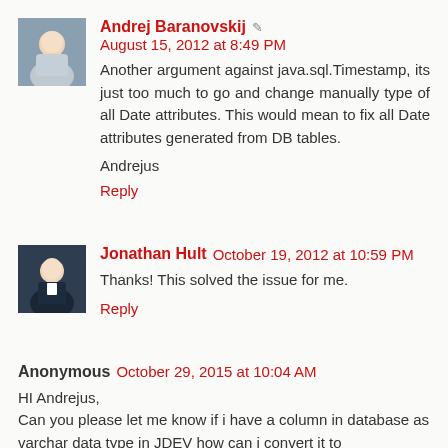Andrej Baranovskij ✎ August 15, 2012 at 8:49 PM
Another argument against java.sql.Timestamp, its just too much to go and change manually type of all Date attributes. This would mean to fix all Date attributes generated from DB tables.
Andrejus
Reply
Jonathan Hult October 19, 2012 at 10:59 PM
Thanks! This solved the issue for me.
Reply
Anonymous October 29, 2015 at 10:04 AM
HI Andrejus,
Can you please let me know if i have a column in database as varchar data type in JDEV how can i convert it to